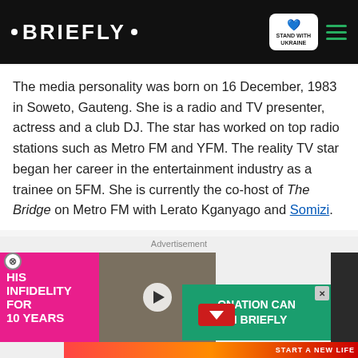BRIEFLY
The media personality was born on 16 December, 1983 in Soweto, Gauteng. She is a radio and TV presenter, actress and a club DJ. The star has worked on top radio stations such as Metro FM and YFM. The reality TV star began her career in the entertainment industry as a trainee on 5FM. She is currently the co-host of The Bridge on Metro FM with Lerato Kganyago and Somizi.
[Figure (photo): Advertisement banner showing 'HIS INFIDELITY FOR 10 YEARS' text with photo of a man and woman couple, and a play button overlay. Below, overlapping green ad reading 'ONATION CAN IN BRIEFLY' with a close button.]
[Figure (photo): Bottom advertisement banner with red/orange background, cartoon character, flames, and BitLife 'START A NEW LIFE' branding.]